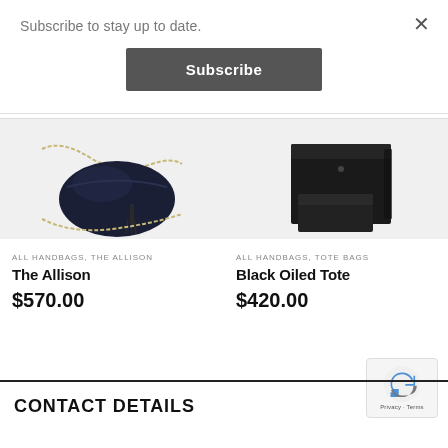Subscribe to stay up to date.
Subscribe
[Figure (photo): Dark navy blue leather crossbody bag with gold chain strap and tassel detail on white background]
ALL HANDBAGS, THE ALLISON
The Allison
$570.00
[Figure (photo): Black oiled leather tote bag with matching flat clutch/wallet on white background]
ALL HANDBAGS, TOTE BAGS
Black Oiled Tote
$420.00
CONTACT DETAILS